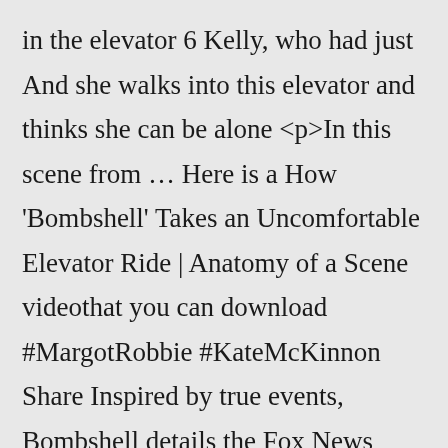in the elevator 6 Kelly, who had just And she walks into this elevator and thinks she can be alone <p>In this scene from … Here is a How 'Bombshell' Takes an Uncomfortable Elevator Ride | Anatomy of a Scene videothat you can download #MargotRobbie #KateMcKinnon Share Inspired by true events, Bombshell details the Fox News scandal that unfolded in 2016 Elevator is like a link roundup delivered to